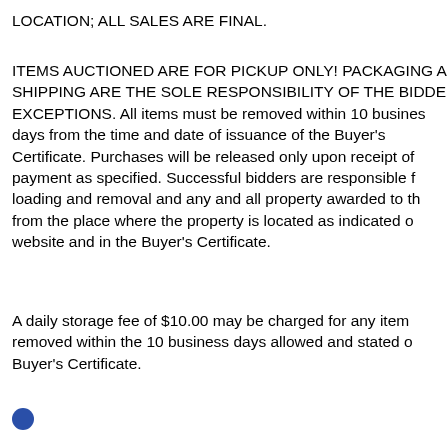LOCATION; ALL SALES ARE FINAL.
ITEMS AUCTIONED ARE FOR PICKUP ONLY! PACKAGING AND SHIPPING ARE THE SOLE RESPONSIBILITY OF THE BIDDER, NO EXCEPTIONS. All items must be removed within 10 business days from the time and date of issuance of the Buyer's Certificate. Purchases will be released only upon receipt of payment as specified. Successful bidders are responsible for loading and removal and any and all property awarded to them from the place where the property is located as indicated on the website and in the Buyer's Certificate.
A daily storage fee of $10.00 may be charged for any item not removed within the 10 business days allowed and stated on the Buyer's Certificate.